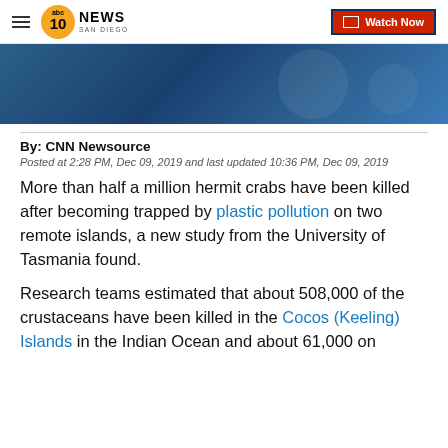10 News San Diego | Watch Now
[Figure (photo): Blue-toned video thumbnail or news header image with dark navy background and circular highlight element]
By: CNN Newsource
Posted at 2:28 PM, Dec 09, 2019 and last updated 10:36 PM, Dec 09, 2019
More than half a million hermit crabs have been killed after becoming trapped by plastic pollution on two remote islands, a new study from the University of Tasmania found.
Research teams estimated that about 508,000 of the crustaceans have been killed in the Cocos (Keeling) Islands in the Indian Ocean and about 61,000 on